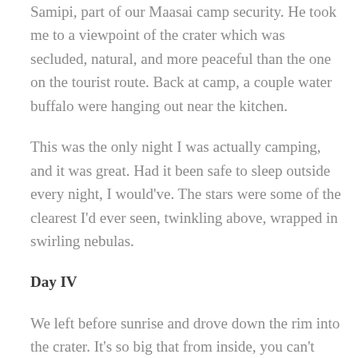Samipi, part of our Maasai camp security. He took me to a viewpoint of the crater which was secluded, natural, and more peaceful than the one on the tourist route. Back at camp, a couple water buffalo were hanging out near the kitchen.
This was the only night I was actually camping, and it was great. Had it been safe to sleep outside every night, I would've. The stars were some of the clearest I'd ever seen, twinkling above, wrapped in swirling nebulas.
Day IV
We left before sunrise and drove down the rim into the crater. It's so big that from inside, you can't even really tell you're inside something. The